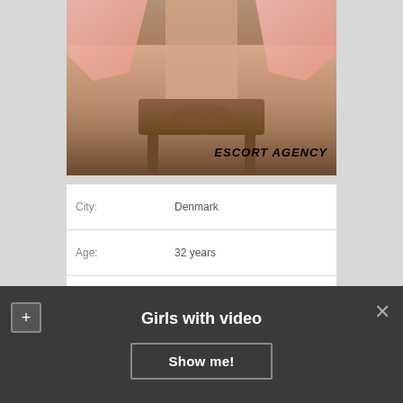[Figure (photo): Cropped photo of a person with pink clothing, seated near a wooden chair, with 'ESCORT AGENCY' watermark text in the lower right corner]
| Field | Value |
| --- | --- |
| City: | Denmark |
| Age: | 32 years |
| Height: | 180 |
| Weight: | 62 |
| Time to | 10:00 – 21:00 |
Girls with video
Show me!